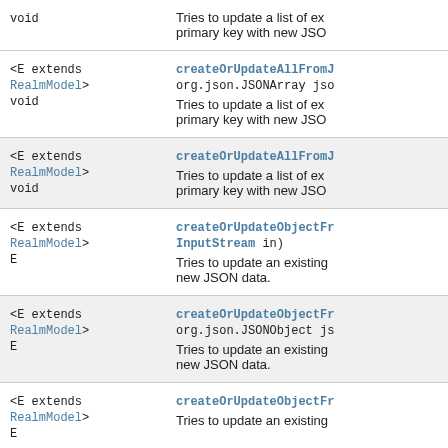| Type | Method/Description |
| --- | --- |
| void | Tries to update a list of ex… primary key with new JSO… |
| <E extends RealmModel>
void | createOrUpdateAllFromJ…
org.json.JSONArray jso…
Tries to update a list of ex… primary key with new JSO… |
| <E extends RealmModel>
void | createOrUpdateAllFromJ…
Tries to update a list of ex… primary key with new JSO… |
| <E extends RealmModel>
E | createOrUpdateObjectFr…
InputStream in)
Tries to update an existing… new JSON data. |
| <E extends RealmModel>
E | createOrUpdateObjectFr…
org.json.JSONObject js…
Tries to update an existing… new JSON data. |
| <E extends RealmModel>
E | createOrUpdateObjectFr…
Tries to update an existing… |